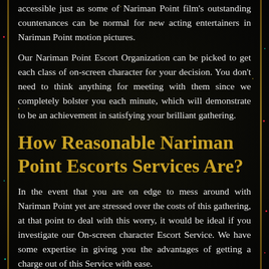accessible just as some of Nariman Point film's outstanding countenances can be normal for new acting entertainers in Nariman Point motion pictures.
Our Nariman Point Escort Organization can be picked to get each class of on-screen character for your decision. You don't need to think anything for meeting with them since we completely bolster you each minute, which will demonstrate to be an achievement in satisfying your brilliant gathering.
How Reasonable Nariman Point Escorts Services Are?
In the event that you are on edge to mess around with Nariman Point yet are stressed over the costs of this gathering, at that point to deal with this worry, it would be ideal if you investigate our On-screen character Escort Service. We have some expertise in giving you the advantages of getting a charge out of this Service with ease.